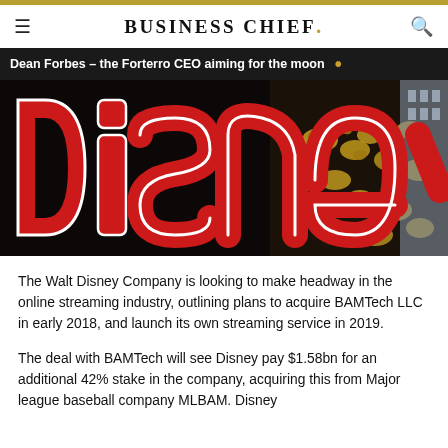BUSINESS CHIEF.
Dean Forbes – the Forterro CEO aiming for the moon
[Figure (photo): Close-up photo of a large illuminated Disney sign with red lettering and gold floral decorations in the background]
The Walt Disney Company is looking to make headway in the online streaming industry, outlining plans to acquire BAMTech LLC in early 2018, and launch its own streaming service in 2019.
The deal with BAMTech will see Disney pay $1.58bn for an additional 42% stake in the company, acquiring this from Major league baseball company MLBAM. Disney